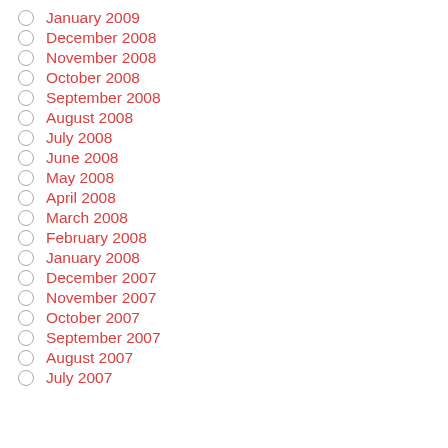January 2009
December 2008
November 2008
October 2008
September 2008
August 2008
July 2008
June 2008
May 2008
April 2008
March 2008
February 2008
January 2008
December 2007
November 2007
October 2007
September 2007
August 2007
July 2007